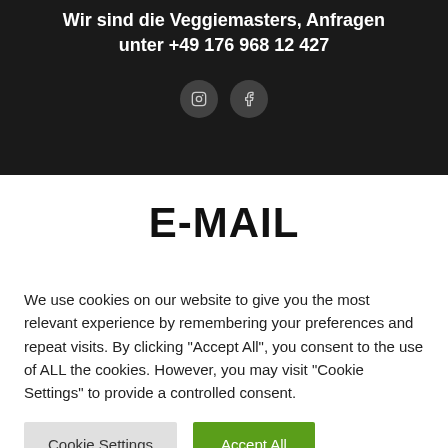[Figure (photo): Dark hero background section with text and two social media icon circles]
Wir sind die Veggiemasters, Anfragen unter +49 176 968 12 427
E-MAIL
We use cookies on our website to give you the most relevant experience by remembering your preferences and repeat visits. By clicking "Accept All", you consent to the use of ALL the cookies. However, you may visit "Cookie Settings" to provide a controlled consent.